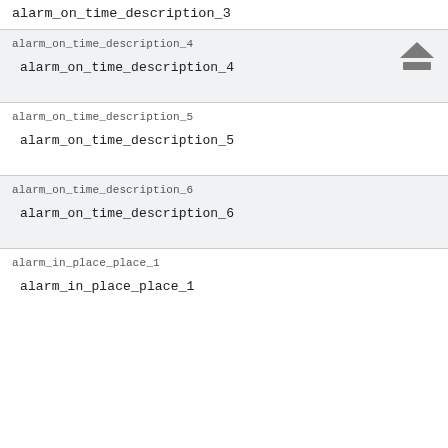alarm_on_time_description_3
alarm_on_time_description_4
alarm_on_time_description_4
alarm_on_time_description_5
alarm_on_time_description_5
alarm_on_time_description_6
alarm_on_time_description_6
alarm_in_place_place_1
alarm_in_place_place_1